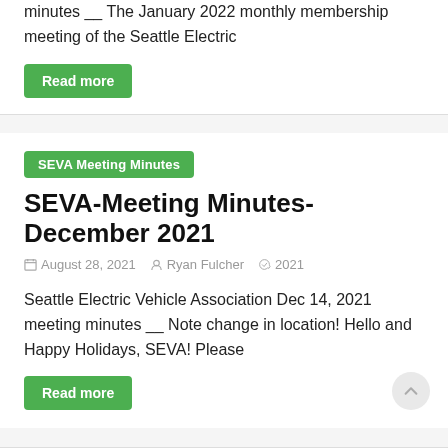minutes __ The January 2022 monthly membership meeting of the Seattle Electric
Read more
SEVA Meeting Minutes
SEVA-Meeting Minutes-December 2021
August 28, 2021  Ryan Fulcher  2021
Seattle Electric Vehicle Association Dec 14, 2021 meeting minutes __ Note change in location! Hello and Happy Holidays, SEVA! Please
Read more